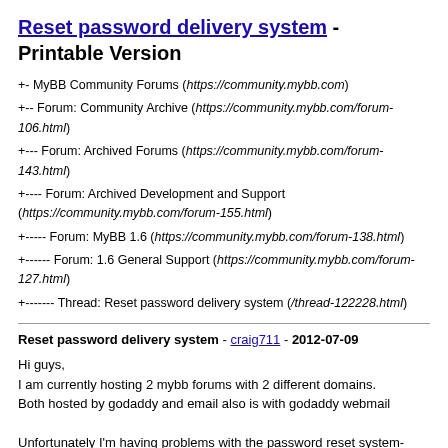Reset password delivery system - Printable Version
+- MyBB Community Forums (https://community.mybb.com)
+-- Forum: Community Archive (https://community.mybb.com/forum-106.html)
+--- Forum: Archived Forums (https://community.mybb.com/forum-143.html)
+---- Forum: Archived Development and Support (https://community.mybb.com/forum-155.html)
+----- Forum: MyBB 1.6 (https://community.mybb.com/forum-138.html)
+------ Forum: 1.6 General Support (https://community.mybb.com/forum-127.html)
+------- Thread: Reset password delivery system (/thread-122228.html)
Reset password delivery system - craig711 - 2012-07-09
Hi guys,
I am currently hosting 2 mybb forums with 2 different domains.
Both hosted by godaddy and email also is with godaddy webmail

Unfortunately I'm having problems with the password reset system- Received numerous complaints about the password not arriving.
I have read several other topics when i searched this issue on google but came up with unclear answers.
Only possible explanation is some mail settings.
Any way to change it? or some solution?